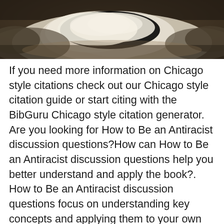[Figure (photo): A photo of dark stormy sky with large cumulus clouds lit from below, dark background with warm brown-grey tones.]
If you need more information on Chicago style citations check out our Chicago style citation guide or start citing with the BibGuru Chicago style citation generator. Are you looking for How to Be an Antiracist discussion questions?How can How to Be an Antiracist discussion questions help you better understand and apply the book?. How to Be an Antiracist discussion questions focus on understanding key concepts and applying them to your own life. At S.T.A.R. Academy-PS 63 in New York City, the school team has spent the past five years working hard to examine its policies and practices through a racial equity lens — from uniform policies to homework, from lesson plan